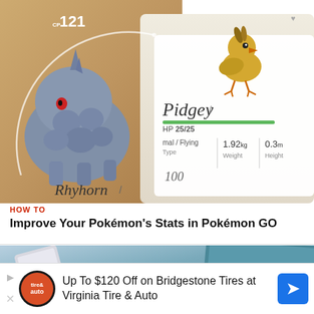[Figure (screenshot): Screenshot from Pokémon GO showing Rhyhorn with CP 121 on the left side and Pidgey with HP 25/25, weight 1.92 kg, height 0.3 m on the right side. Normal/Flying type shown.]
HOW TO
Improve Your Pokémon's Stats in Pokémon GO
[Figure (screenshot): Screenshot preview of a second article showing a phone with text 'Click to send files or right click to send a message']
Up To $120 Off on Bridgestone Tires at Virginia Tire & Auto